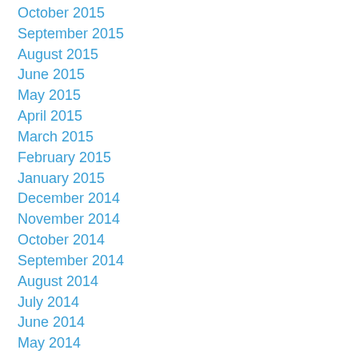October 2015
September 2015
August 2015
June 2015
May 2015
April 2015
March 2015
February 2015
January 2015
December 2014
November 2014
October 2014
September 2014
August 2014
July 2014
June 2014
May 2014
April 2014
March 2014
February 2014
January 2014